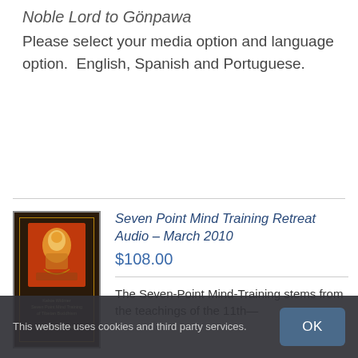Noble Lord to Gönpawa
Please select your media option and language option.  English, Spanish and Portuguese.
[Figure (photo): Book cover for Seven Point Mind Training of Tibetan Buddhism, showing a Tibetan thangka painting on a dark background with gold border]
Seven Point Mind Training Retreat Audio – March 2010
$108.00
The Seven-Point Mind-Training stems from the teachings of the 11th—
This website uses cookies and third party services.